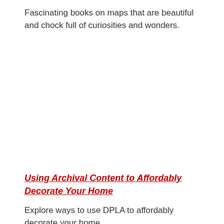Fascinating books on maps that are beautiful and chock full of curiosities and wonders.
Using Archival Content to Affordably Decorate Your Home
Explore ways to use DPLA to affordably decorate your home.